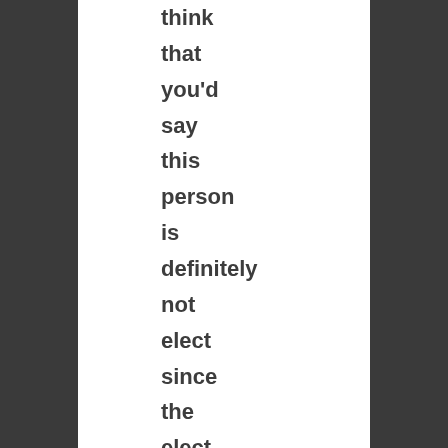think that you'd say this person is definitely not elect since the elect can't/won't turn from fellowship with Christ.

I would say it